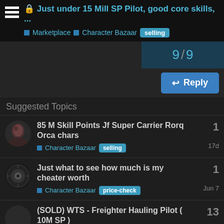Just under 15 Mill SP Pilot, good core skills, ...
Marketplace > Character Bazaar selling
9 / 9
Reply
Suggested Topics
85 M Skill Points Jf Super Carrier Rorq Orca chars — Character Bazaar selling — 17d — 1 reply
Just what to see how much is my cheater worth — Character Bazaar price-check — Jun 7 — 1 reply
(SOLD) WTS - Freighter Hauling Pilot ( 10M SP ) — Character Bazaar selling — Jul 10 — 13 replies